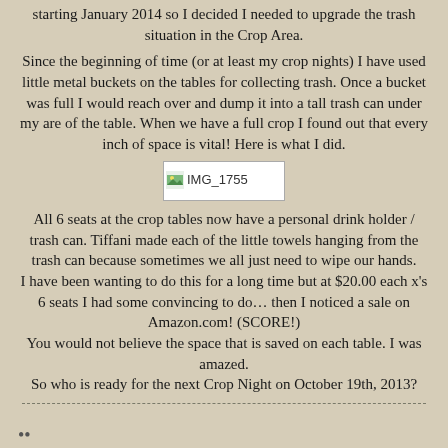starting January 2014  so I decided I needed to upgrade the trash situation in the Crop Area.
Since the beginning of time (or at least my crop nights) I have used little metal buckets on the tables for collecting trash.  Once a bucket was full I would reach over and dump it into a tall trash can under my are of the table. When we have a full crop I found out that every inch of space is vital! Here is what I did.
[Figure (photo): Image placeholder labeled IMG_1755]
All 6 seats at the crop tables now have a personal drink holder / trash can.  Tiffani made each of the little towels hanging from the trash can because sometimes we all just need to wipe our hands.
I have been wanting to do this for a long time but at $20.00 each x's 6 seats I had some convincing to do… then I noticed a sale on Amazon.com! (SCORE!)
You would not believe the space that is saved on each table.  I was amazed.
So who is ready for the next Crop Night on October 19th, 2013?